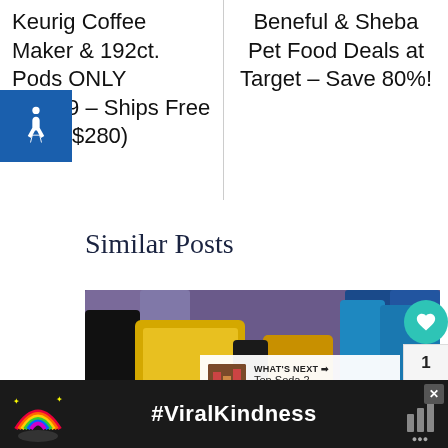Keurig Coffee Maker & 192ct. Pods ONLY $79.99 – Ships Free (Reg. $280)
Beneful & Sheba Pet Food Deals at Target – Save 80%!
Similar Posts
[Figure (photo): Photo of L'Oreal hair product bottles on a store shelf, showing black and yellow containers]
WHAT'S NEXT → Ten Soda 2-liters as Low...
#ViralKindness